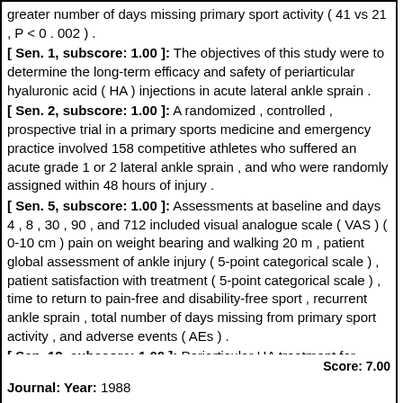greater number of days missing primary sport activity ( 41 vs 21 , P < 0 . 002 ) .
[ Sen. 1, subscore: 1.00 ]: The objectives of this study were to determine the long-term efficacy and safety of periarticular hyaluronic acid ( HA ) injections in acute lateral ankle sprain .
[ Sen. 2, subscore: 1.00 ]: A randomized , controlled , prospective trial in a primary sports medicine and emergency practice involved 158 competitive athletes who suffered an acute grade 1 or 2 lateral ankle sprain , and who were randomly assigned within 48 hours of injury .
[ Sen. 5, subscore: 1.00 ]: Assessments at baseline and days 4 , 8 , 30 , 90 , and 712 included visual analogue scale ( VAS ) ( 0-10 cm ) pain on weight bearing and walking 20 m , patient global assessment of ankle injury ( 5-point categorical scale ) , patient satisfaction with treatment ( 5-point categorical scale ) , time to return to pain-free and disability-free sport , recurrent ankle sprain , total number of days missing from primary sport activity , and adverse events ( AEs ) .
[ Sen. 12, subscore: 1.00 ]: Periarticular HA treatment for acute ankle sprain was highly satisfactory in the short and long term versus PL .
[ Sen. 13, subscore: 1.00 ]: This was associated with reduced pain , more rapid return to sport , fewer recurrent ankle sprains , fewer missed days from sport , and with few associated AEs to 24 months .
Score: 7.00
Journal: Year: 1988
Literature: oryza Field: abstract Doc ID: pub3293757 Accession (PMID): 3293757
Matching Sentences:
[ Sen. 1, subscore: 1.00 ]: As has been previously discussed , the incidence and resultant associated disabilities of ankle sprains have been well documented in the literature .